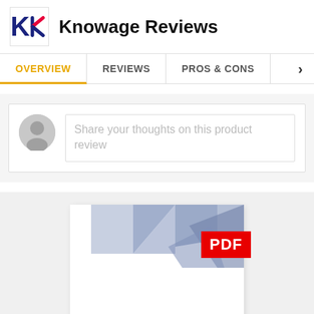Knowage Reviews
OVERVIEW | REVIEWS | PROS & CONS
Share your thoughts on this product review
[Figure (screenshot): PDF document preview thumbnail with geometric hexagonal design and a red PDF badge in the top right corner]